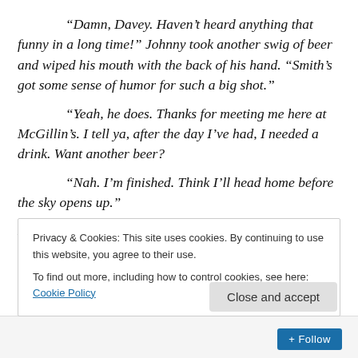“Damn, Davey. Haven’t heard anything that funny in a long time!” Johnny took another swig of beer and wiped his mouth with the back of his hand. “Smith’s got some sense of humor for such a big shot.”
“Yeah, he does. Thanks for meeting me here at McGillin’s. I tell ya, after the day I’ve had, I needed a drink. Want another beer?
“Nah. I’m finished. Think I’ll head home before the sky opens up.”
Dave patted Johnny’s back. “Yeah, you’re right, guess I should get going too. Next time, we’ll meet closer to
Privacy & Cookies: This site uses cookies. By continuing to use this website, you agree to their use.
To find out more, including how to control cookies, see here: Cookie Policy
Close and accept